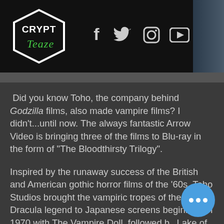CryptTeaze logo with social media icons: Facebook, Twitter, Instagram, YouTube
Did you know Toho, the company behind Godzilla films, also made vampire films? I didn't...until now. The always fantastic Arrow Video is bringing three of the films to Blu-ray in the form of "The Bloodthirsty Trilogy".
Inspired by the runaway success of the British and American gothic horror films of the '60s, Toho Studios brought the vampiric tropes of the Dracula legend to Japanese screens beginning in 1970 with The Vampire Doll, followed by Lake of Dracula (1971) and Evil of Dracula (1975)... collectively known as